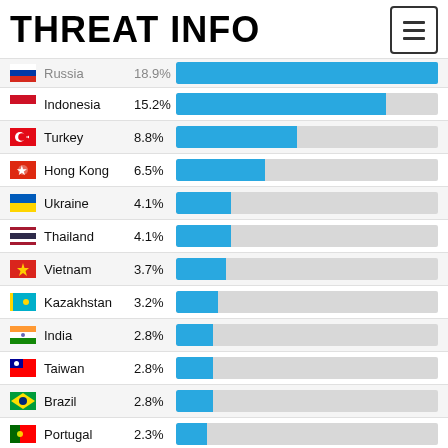THREAT INFO
[Figure (bar-chart): Threat Info by Country]